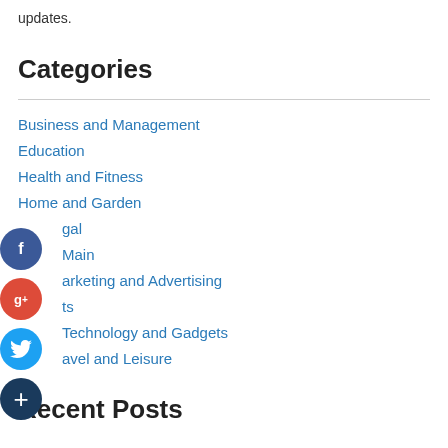updates.
Categories
Business and Management
Education
Health and Fitness
Home and Garden
Legal
Main
Marketing and Advertising
Pets
Technology and Gadgets
Travel and Leisure
Recent Posts